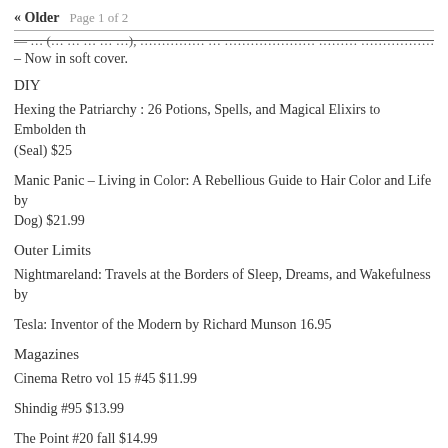« Older  Page 1 of 2
– Now in soft cover.
DIY
Hexing the Patriarchy : 26 Potions, Spells, and Magical Elixirs to Embolden th (Seal) $25
Manic Panic – Living in Color: A Rebellious Guide to Hair Color and Life by Dog) $21.99
Outer Limits
Nightmareland: Travels at the Borders of Sleep, Dreams, and Wakefulness by
Tesla: Inventor of the Modern by Richard Munson 16.95
Magazines
Cinema Retro vol 15 #45 $11.99
Shindig #95 $13.99
The Point #20 fall $14.99